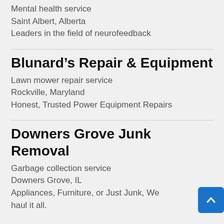Mental health service
Saint Albert, Alberta
Leaders in the field of neurofeedback
Blunard’s Repair & Equipment
Lawn mower repair service
Rockville, Maryland
Honest, Trusted Power Equipment Repairs
Downers Grove Junk Removal
Garbage collection service
Downers Grove, IL
Appliances, Furniture, or Just Junk, We haul it all.